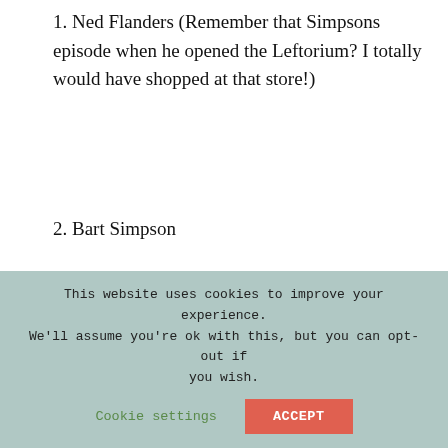1. Ned Flanders (Remember that Simpsons episode when he opened the Leftorium? I totally would have shopped at that store!)
2. Bart Simpson
3. Barack Obama
4. Ronald Reagan
This website uses cookies to improve your experience. We'll assume you're ok with this, but you can opt-out if you wish. Cookie settings ACCEPT